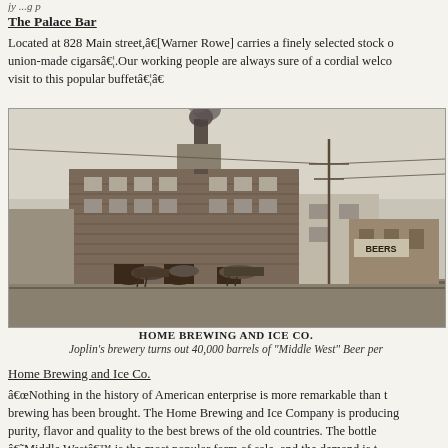The Palace Bar
Located at 828 Main street,â€[Warner Rowe] carries a finely selected stock of union-made cigarsâ€¦.Our working people are always sure of a cordial welcome…visit to this popular buffetâ€¦â€
[Figure (photo): Black and white photograph of the Home Brewing and Ice Co. building, a large multi-story brick building with smoke rising from a chimney. Horse-drawn wagons are visible in the foreground, along with a 'BEERS' sign on another building to the right.]
HOME BREWING AND ICE CO.
Joplin's brewery turns out 40,000 barrels of "Middle West" Beer per
Home Brewing and Ice Co.
â€œNothing in the history of American enterprise is more remarkable than the brewing has been brought. The Home Brewing and Ice Company is producing purity, flavor and quality to the best brews of the old countries. The bottled â€˜Middle Westâ€™ is the most popular form of sale, and the demand is t